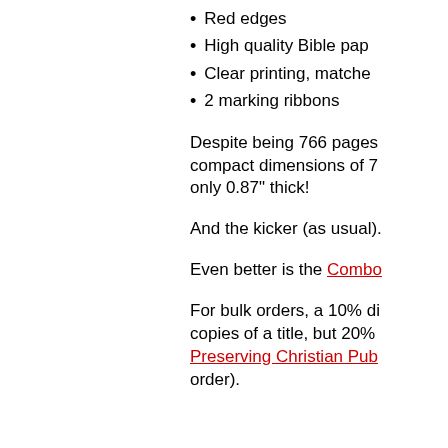Red edges
High quality Bible pap…
Clear printing, matche…
2 marking ribbons
Despite being 766 pages… compact dimensions of 7… only 0.87" thick!
And the kicker (as usual)…
Even better is the Combo…
For bulk orders, a 10% di… copies of a title, but 20%… Preserving Christian Pub… order).